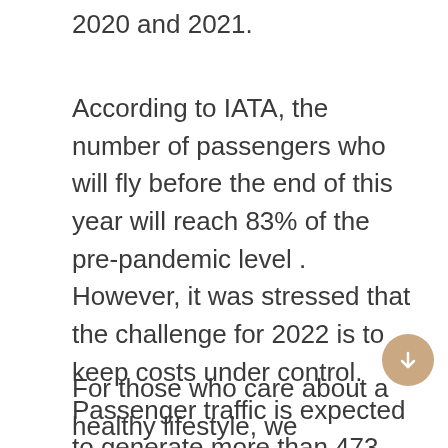2020 and 2021.
According to IATA, the number of passengers who will fly before the end of this year will reach 83% of the pre-pandemic level . However, it was stressed that the challenge for 2022 is to keep costs under control. Passenger traffic is expected to generate more than 473 billion euros in revenue for the sector, twice as much as in 2021.
For those who care about a healthy lifestyle, we recommend reading: “Scientists have found that meditation helps to overcome